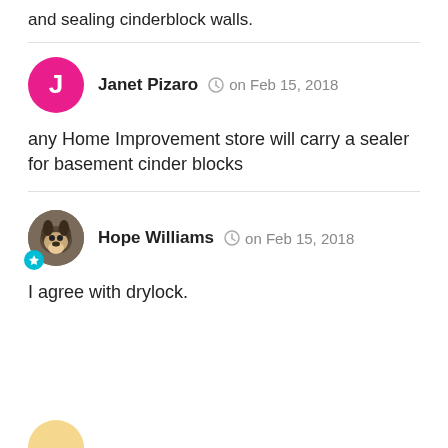and sealing cinderblock walls.
Janet Pizaro  on Feb 15, 2018
any Home Improvement store will carry a sealer for basement cinder blocks
Hope Williams  on Feb 15, 2018
I agree with drylock.